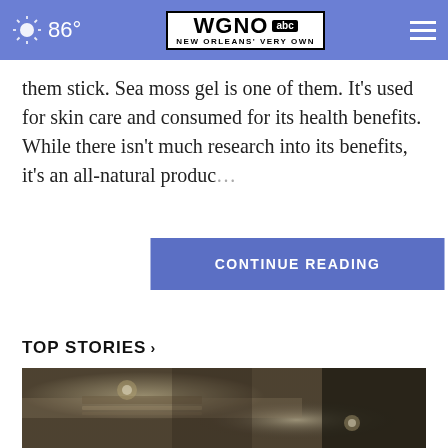86° | WGNO ABC NEW ORLEANS' VERY OWN
them stick. Sea moss gel is one of them. It's used for skin care and consumed for its health benefits. While there isn't much research into its benefits, it's an all-natural produc…
CONTINUE READING
TOP STORIES ›
[Figure (photo): Close-up macro photo of metal mechanical parts, likely handcuffs or similar metal clamp mechanism, with shallow depth of field]